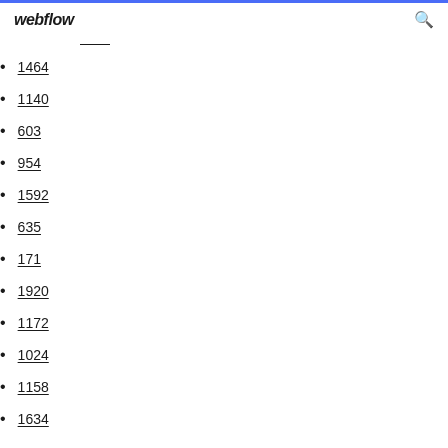webflow
1464
1140
603
954
1592
635
171
1920
1172
1024
1158
1634